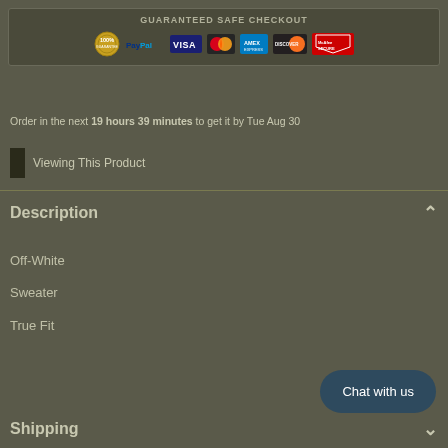[Figure (infographic): Guaranteed Safe Checkout banner with payment logos: 100% guarantee seal, PayPal, VISA, Mastercard, American Express, Discover, McAfee SECURE]
Order in the next 19 hours 39 minutes to get it by Tue Aug 30
Viewing This Product
Description
Off-White
Sweater
True Fit
Chat with us
Shipping